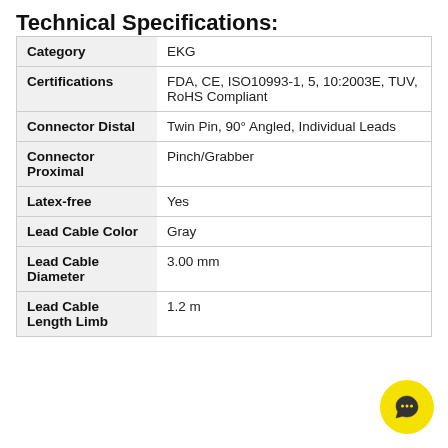Technical Specifications:
| Category (label) | Value |
| --- | --- |
| Category | EKG |
| Certifications | FDA, CE, ISO10993-1, 5, 10:2003E, TUV, RoHS Compliant |
| Connector Distal | Twin Pin, 90° Angled, Individual Leads |
| Connector Proximal | Pinch/Grabber |
| Latex-free | Yes |
| Lead Cable Color | Gray |
| Lead Cable Diameter | 3.00 mm |
| Lead Cable Length Limb | 1.2 m |